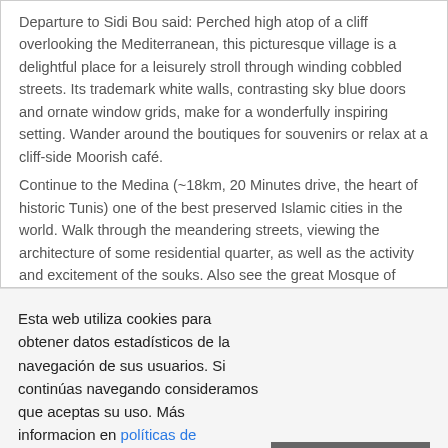Departure to Sidi Bou said: Perched high atop of a cliff overlooking the Mediterranean, this picturesque village is a delightful place for a leisurely stroll through winding cobbled streets. Its trademark white walls, contrasting sky blue doors and ornate window grids, make for a wonderfully inspiring setting. Wander around the boutiques for souvenirs or relax at a cliff-side Moorish café.
Continue to the Medina (~18km, 20 Minutes drive, the heart of historic Tunis) one of the best preserved Islamic cities in the world. Walk through the meandering streets, viewing the architecture of some residential quarter, as well as the activity and excitement of the souks. Also see the great Mosque of Djamaa-ez-Zitouna, walking through Souk Echaouchia (Traditional cap makers market)
Esta web utiliza cookies para obtener datos estadísticos de la navegación de sus usuarios. Si continúas navegando consideramos que aceptas su uso. Más informacion en políticas de privacidad